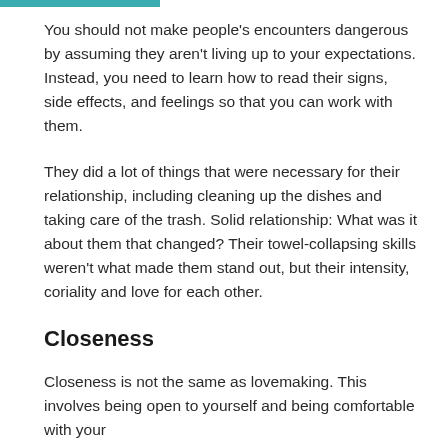You should not make people's encounters dangerous by assuming they aren't living up to your expectations. Instead, you need to learn how to read their signs, side effects, and feelings so that you can work with them.
They did a lot of things that were necessary for their relationship, including cleaning up the dishes and taking care of the trash. Solid relationship: What was it about them that changed? Their towel-collapsing skills weren't what made them stand out, but their intensity, coriality and love for each other.
Closeness
Closeness is not the same as lovemaking. This involves being open to yourself and being comfortable with your